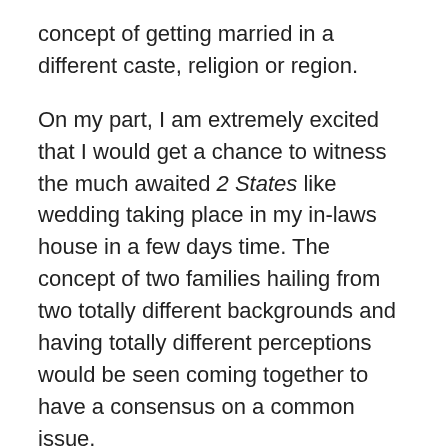concept of getting married in a different caste, religion or region.
On my part, I am extremely excited that I would get a chance to witness the much awaited 2 States like wedding taking place in my in-laws house in a few days time. The concept of two families hailing from two totally different backgrounds and having totally different perceptions would be seen coming together to have a consensus on a common issue.
The excitement seems to have caught everyone in the family, with my brother-in-law even contemplating getting dressed in a lungi, similar to the likes of the bridegroom and my sister-in-laws all set to adorn kerala style sarees.
How wonderful it would be if the two parties to the contract